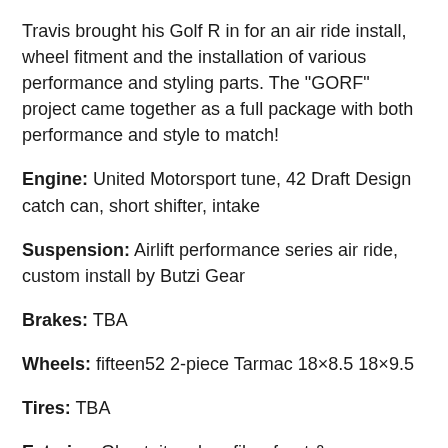Travis brought his Golf R in for an air ride install, wheel fitment and the installation of various performance and styling parts. The "GORF" project came together as a full package with both performance and style to match!
Engine: United Motorsport tune, 42 Draft Design catch can, short shifter, intake
Suspension: Airlift performance series air ride, custom install by Butzi Gear
Brakes: TBA
Wheels: fifteen52 2-piece Tarmac 18×8.5 18×9.5
Tires: TBA
Exterior: Ghostnit carbon fiber front & rear spoilers